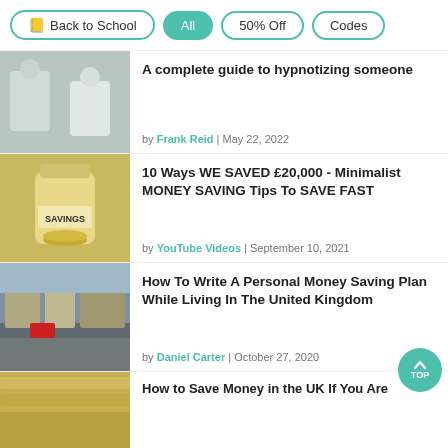Back to School | All | 50% Off | Codes
[Figure (photo): A man and woman in a clinical or office setting, hypnosis scene]
A complete guide to hypnotizing someone
by Frank Reid | May 22, 2022
[Figure (photo): A glass jar labeled SAVINGS filled with coins]
10 Ways WE SAVED £20,000 - Minimalist MONEY SAVING Tips To SAVE FAST
by YouTube Videos | September 10, 2021
[Figure (photo): London street scene with double-decker buses and buildings]
How To Write A Personal Money Saving Plan While Living In The United Kingdom
by Daniel Carter | October 27, 2020
[Figure (photo): Money/cash image, partially visible]
How to Save Money in the UK If You Are